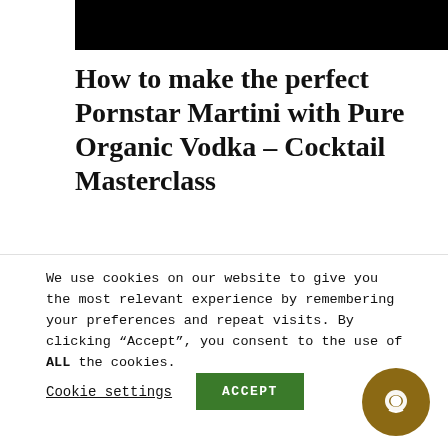[Figure (photo): Black navigation bar at top of webpage]
How to make the perfect Pornstar Martini with Pure Organic Vodka - Cocktail Masterclass
[Figure (photo): Partial photo strip showing a cocktail or bar scene]
We use cookies on our website to give you the most relevant experience by remembering your preferences and repeat visits. By clicking “Accept”, you consent to the use of ALL the cookies.
Cookie settings
ACCEPT